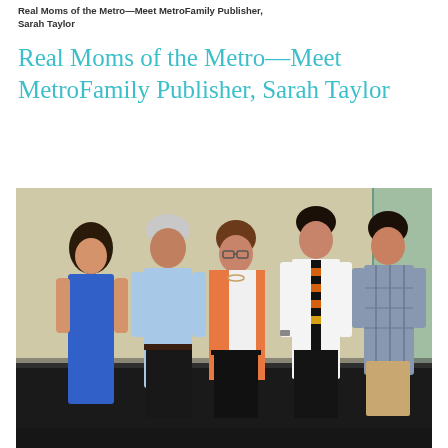Real Moms of the Metro—Meet MetroFamily Publisher, Sarah Taylor
Real Moms of the Metro—Meet MetroFamily Publisher, Sarah Taylor
[Figure (photo): Family group photo of five people standing together indoors. A young woman in a blue dress, an older man in a light blue shirt, a woman in an orange blazer and white top wearing glasses (Sarah Taylor), a young man in a white shirt with black and orange striped tie, and another young man in a plaid shirt. They are posing against a light-colored wall.]